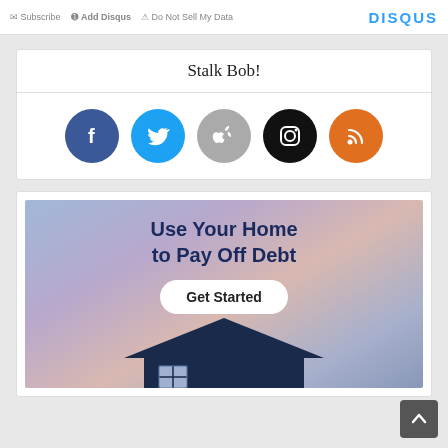Subscribe  Add Disqus  Do Not Sell My Data  DISQUS
Stalk Bob!
[Figure (illustration): Five social media icon circles: Facebook (dark blue, f), Twitter (light blue, bird), Apple (gray, apple logo), Instagram (black, camera), RSS (orange, wifi/feed symbol)]
[Figure (infographic): Advertisement banner: 'Use Your Home to Pay Off Debt' with a 'Get Started' button and a house image on a purple/blue sky background]